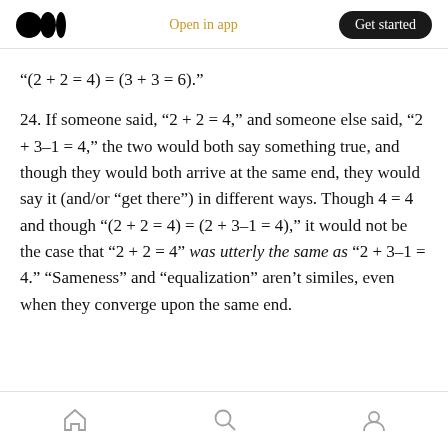Medium logo | Open in app | Get started
“(2 + 2 = 4) = (3 + 3 = 6).”
24. If someone said, “2 + 2 = 4,” and someone else said, “2 + 3–1 = 4,” the two would both say something true, and though they would both arrive at the same end, they would say it (and/or “get there”) in different ways. Though 4 = 4 and though “(2 + 2 = 4) = (2 + 3–1 = 4),” it would not be the case that “2 + 2 = 4” was utterly the same as “2 + 3–1 = 4.” “Sameness” and “equalization” aren’t similes, even when they converge upon the same end.
Home | Search | Profile